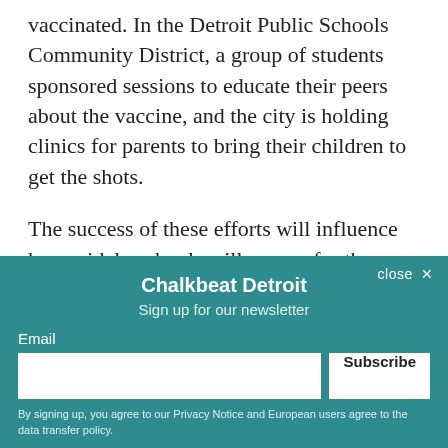vaccinated. In the Detroit Public Schools Community District, a group of students sponsored sessions to educate their peers about the vaccine, and the city is holding clinics for parents to bring their children to get the shots.
The success of these efforts will influence how widely schools will reopen for the 2021-22 school year, which begins Sept. 7 in the Detroit district. Earlier this week, Superintendent Nikolai Vitti outlined how schools can reopen for...
[Figure (other): Chalkbeat Detroit newsletter signup overlay modal with teal background, showing title 'Chalkbeat Detroit', subtitle 'Sign up for our newsletter', an email input field, a Subscribe button, and a privacy notice. A close button (X) is shown in the top right corner.]